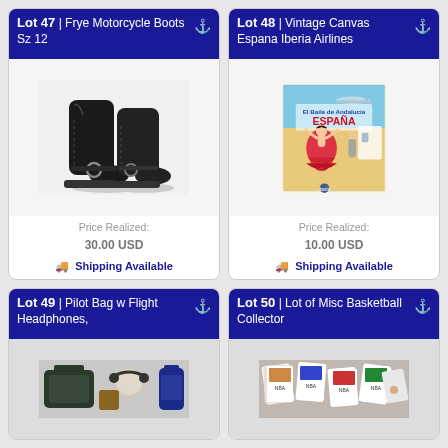Lot 47 | Frye Motorcycle Boots Sz 12
[Figure (photo): Black leather Frye motorcycle boots with harness ring hardware, size 12, displayed on white background]
Price Realized: 30.00 USD
Shipping Available
Lot 48 | Vintage Canvas Espana Iberia Airlines
[Figure (photo): Vintage canvas travel poster for Iberia Airlines Spain, showing El Baile de Andalucia with a flamenco dancer in a red dress]
Price Realized: 10.00 USD
Shipping Available
Lot 49 | Pilot Bag w Flight Headphones,
[Figure (photo): Pilot bag with flight headphones and other items, partially visible]
Lot 50 | Lot of Misc Basketball Collector
[Figure (photo): Lot of miscellaneous basketball collector cards spread out]